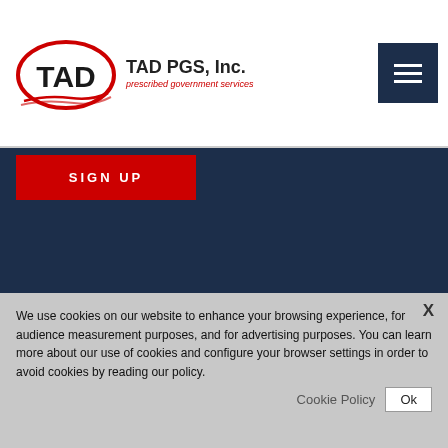[Figure (logo): TAD PGS, Inc. logo with red oval around TAD text, company name and tagline 'prescribed government services']
[Figure (other): Dark navy hamburger menu button with three horizontal white lines]
SIGN UP
→ Facebook
→ LinkedIn
We use cookies on our website to enhance your browsing experience, for audience measurement purposes, and for advertising purposes. You can learn more about our use of cookies and configure your browser settings in order to avoid cookies by reading our policy.
Cookie Policy
Ok
X